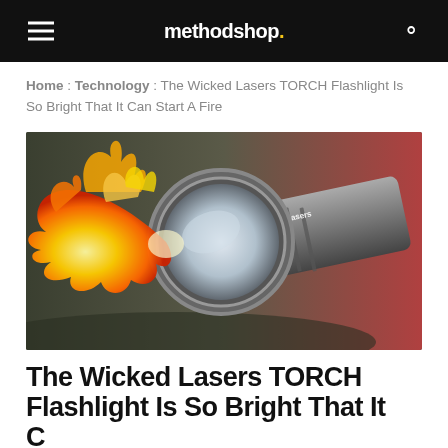methodshop.
Home : Technology : The Wicked Lasers TORCH Flashlight Is So Bright That It Can Start A Fire
[Figure (photo): Photo of a Wicked Lasers flashlight/torch with flames shooting out from the lens, placed on a surface with a reddish background]
The Wicked Lasers TORCH Flashlight Is So Bright That It Can Start A Fire